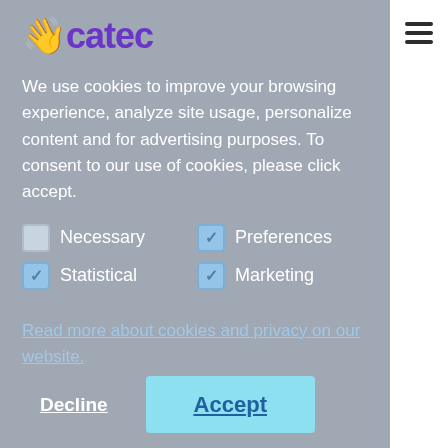[Figure (logo): Scatec logo in purple with stylized hand/sparkle icon]
We use cookies to improve your browsing experience, analyze site usage, personalize content and for advertising purposes. To consent to our use of cookies, please click accept.
Necessary (unchecked), Preferences (checked)
Statistical (checked), Marketing (checked)
Read more about cookies and privacy on our website.
Decline   Accept